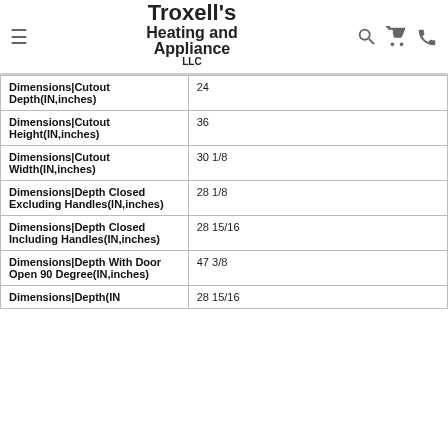Troxell's Heating and Appliance LLC
| Attribute | Value |
| --- | --- |
| Dimensions|Cutout Depth(IN,inches) | 24 |
| Dimensions|Cutout Height(IN,inches) | 36 |
| Dimensions|Cutout Width(IN,inches) | 30 1/8 |
| Dimensions|Depth Closed Excluding Handles(IN,inches) | 28 1/8 |
| Dimensions|Depth Closed Including Handles(IN,inches) | 28 15/16 |
| Dimensions|Depth With Door Open 90 Degree(IN,inches) | 47 3/8 |
| Dimensions|Depth(IN | 28 15/16 |